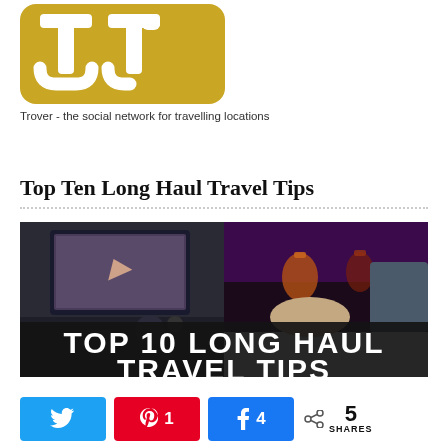[Figure (logo): Trover logo - golden/yellow stylized 'tr' letterform in a rounded square]
Trover - the social network for travelling locations
Top Ten Long Haul Travel Tips
[Figure (photo): Composite image: left side shows airplane seat with entertainment screen showing a movie; right side shows hands holding wine/cocktail glasses in an aircraft cabin with purple lighting. Overlaid dark banner reads 'TOP 10 LONG HAUL TRAVEL TIPS']
Tweet | 1 Pin | 4 Share | 5 SHARES